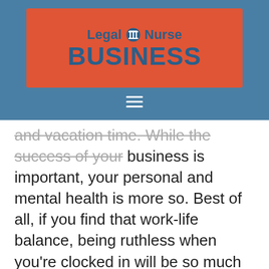[Figure (logo): Legal Nurse Business logo: red/orange rectangle with 'Legal [pillar icon] Nurse' in dark blue and 'BUSINESS' in large dark blue bold text on a steel blue header background]
and vacation time. While the success of your business is important, your personal and mental health is more so. Best of all, if you find that work-life balance, being ruthless when you're clocked in will be so much easier.
You can only do so much in a day. If you drain yourself, the greatest asset in your LNC business, areas in your business will begin to reflect it. Structure your business by